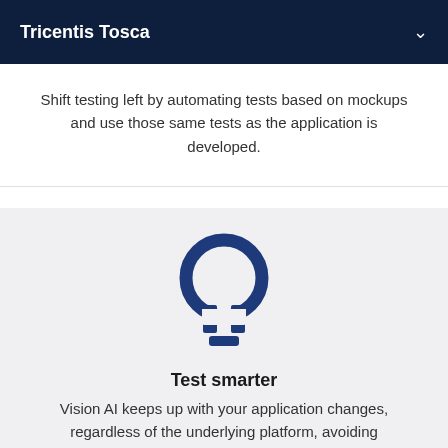Tricentis Tosca
Shift testing left by automating tests based on mockups and use those same tests as the application is developed.
[Figure (illustration): A blue lightbulb icon on a light grey background]
Test smarter
Vision AI keeps up with your application changes, regardless of the underlying platform, avoiding